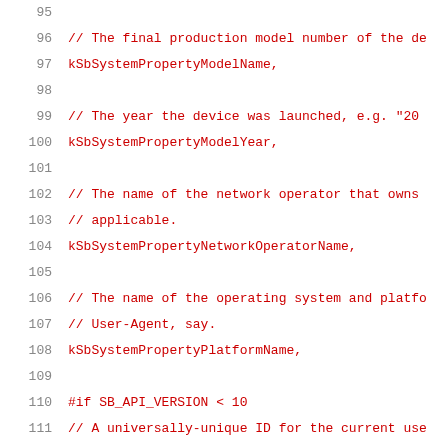[Figure (screenshot): Source code listing showing lines 96-116 of a C/C++ header file. Line numbers on left in grey, code in red monospace font on white background. Contains enumeration values for system properties including kSbSystemPropertyModelName, kSbSystemPropertyModelYear, kSbSystemPropertyNetworkOperatorName, kSbSystemPropertyPlatformName, and a conditional block #if SB_API_VERSION < 10 containing kSbSystemPropertyPlatformUuid, followed by comments about Google Speech API key.]